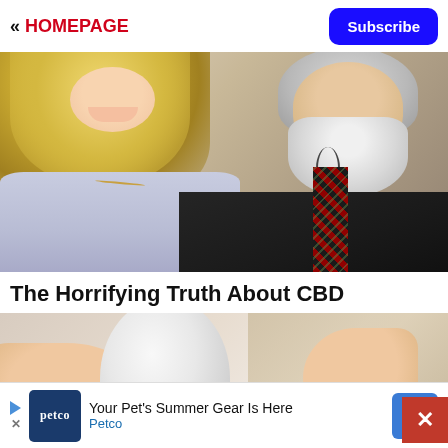<< HOMEPAGE
Subscribe
[Figure (photo): A smiling couple: a blonde woman in a light blue top on the left and an older man with a white beard wearing a dark jacket and plaid tie on the right.]
The Horrifying Truth About CBD
[Figure (photo): A hand holding a white rounded device (possibly a security camera or smart home gadget). A red X button appears in the bottom right corner.]
Your Pet's Summer Gear Is Here Petco